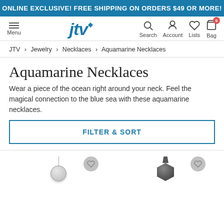ONLINE EXCLUSIVE! FREE SHIPPING ON ORDERS $49 OR MORE!
[Figure (screenshot): JTV website navigation bar with Menu, JTV logo, Search, Account, Lists, and Bag icons]
JTV > Jewelry > Necklaces > Aquamarine Necklaces
Aquamarine Necklaces
Wear a piece of the ocean right around your neck. Feel the magical connection to the blue sea with these aquamarine necklaces.
FILTER & SORT
[Figure (photo): Two aquamarine necklace product images with heart wishlist buttons: one light silver pendant necklace and one dark ornate pendant necklace]